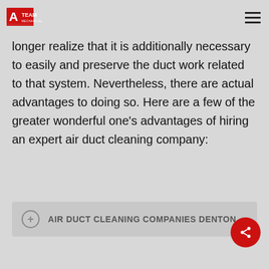A-TEAM [logo] | hamburger menu
operational components of their HVAC machine. However, they regularly do no longer realize that it is additionally necessary to easily and preserve the duct work related to that system. Nevertheless, there are actual advantages to doing so. Here are a few of the greater wonderful one’s advantages of hiring an expert air duct cleaning company:
AIR DUCT CLEANING COMPANIES DENTON